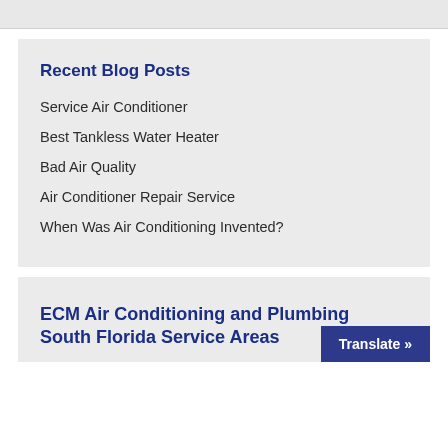Recent Blog Posts
Service Air Conditioner
Best Tankless Water Heater
Bad Air Quality
Air Conditioner Repair Service
When Was Air Conditioning Invented?
ECM Air Conditioning and Plumbing South Florida Service Areas
Translate »